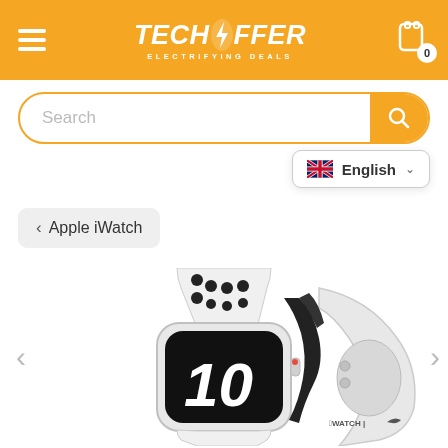TechOffer - Electrifying Deals
Search
English
< Apple iWatch
[Figure (photo): Apple Watch Nike with white/black Nike sport band showing the watch face with '10' displayed, and the back of the watch showing the Apple Watch Nike branding. Navigation arrows on left and right sides.]